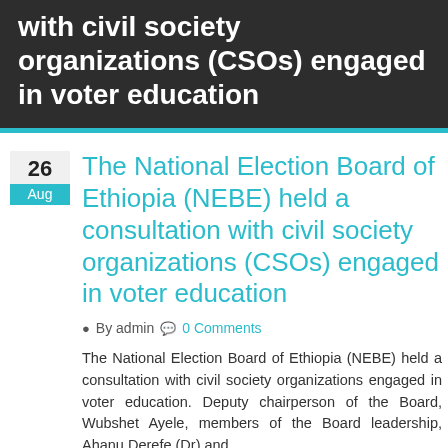with civil society organizations (CSOs) engaged in voter education
The National Election Board of Ethiopia (NEBE) held a consultation with civil society organizations (CSOs) engaged in voter education
26 Aug
By admin   0 Comments
The National Election Board of Ethiopia (NEBE) held a consultation with civil society organizations engaged in voter education. Deputy chairperson of the Board, Wubshet Ayele, members of the Board leadership, Ahanu Derefe (Dr) and